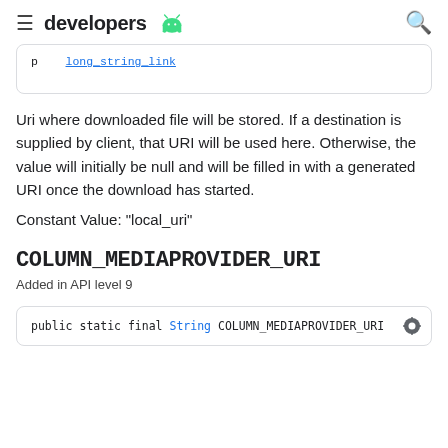developers [android logo]
p [link text - partially visible]
Uri where downloaded file will be stored. If a destination is supplied by client, that URI will be used here. Otherwise, the value will initially be null and will be filled in with a generated URI once the download has started.
Constant Value: "local_uri"
COLUMN_MEDIAPROVIDER_URI
Added in API level 9
public static final String COLUMN_MEDIAPROVIDER_URI